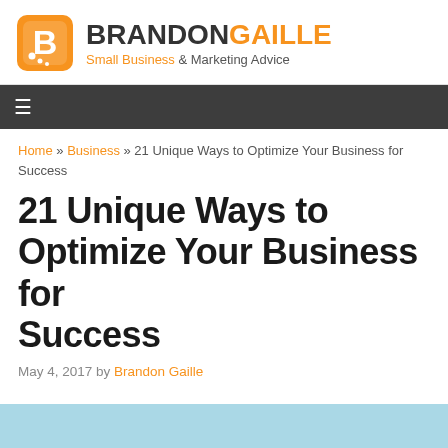[Figure (logo): Brandon Gaille logo with orange speech bubble icon and text 'BRANDONGAILLE Small Business & Marketing Advice']
≡
Home » Business » 21 Unique Ways to Optimize Your Business for Success
21 Unique Ways to Optimize Your Business for Success
May 4, 2017 by Brandon Gaille
[Figure (photo): Partial image with light blue background visible at bottom of page]